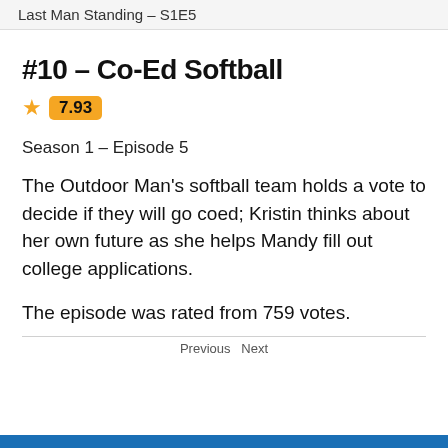Last Man Standing – S1E5
#10 – Co-Ed Softball
7.93
Season 1 – Episode 5
The Outdoor Man's softball team holds a vote to decide if they will go coed; Kristin thinks about her own future as she helps Mandy fill out college applications.
The episode was rated from 759 votes.